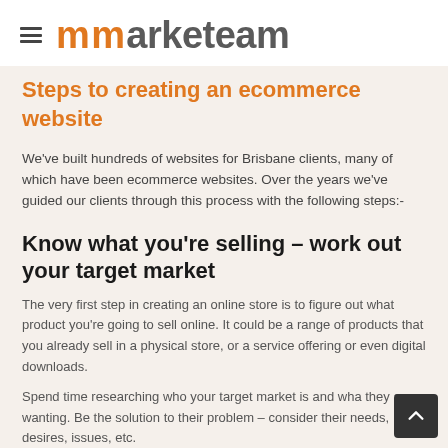≡ marketeam
Steps to creating an ecommerce website
We've built hundreds of websites for Brisbane clients, many of which have been ecommerce websites. Over the years we've guided our clients through this process with the following steps:-
Know what you're selling – work out your target market
The very first step in creating an online store is to figure out what product you're going to sell online. It could be a range of products that you already sell in a physical store, or a service offering or even digital downloads.
Spend time researching who your target market is and what they are wanting. Be the solution to their problem – consider their needs, desires, issues, etc.